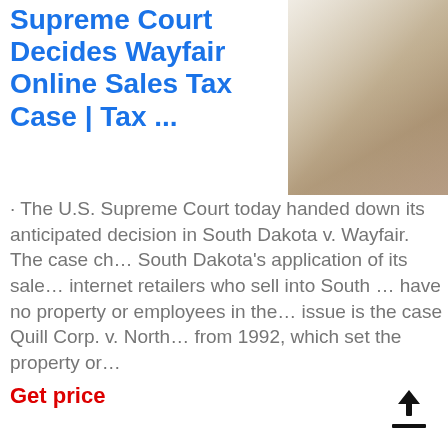Supreme Court Decides Wayfair Online Sales Tax Case | Tax ...
[Figure (photo): Interior room photo showing a modern living space with beige/neutral tones, a TV mounted on the wall, and light wood elements]
· The U.S. Supreme Court today handed down its anticipated decision in South Dakota v. Wayfair. The case challenged South Dakota's application of its sales tax to internet retailers who sell into South Dakota but have no property or employees in the state. At issue is the case Quill Corp. v. North Dakota from 1992, which set the property or...
Get price